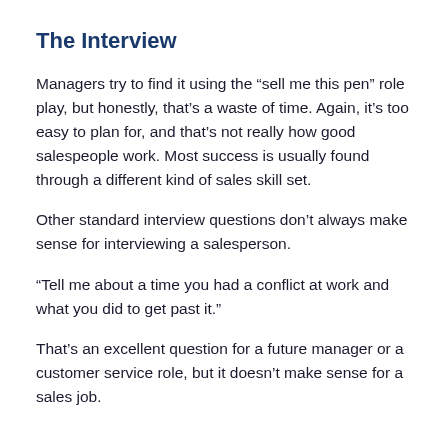The Interview
Managers try to find it using the “sell me this pen” role play, but honestly, that’s a waste of time. Again, it’s too easy to plan for, and that’s not really how good salespeople work. Most success is usually found through a different kind of sales skill set.
Other standard interview questions don’t always make sense for interviewing a salesperson.
“Tell me about a time you had a conflict at work and what you did to get past it.”
That’s an excellent question for a future manager or a customer service role, but it doesn’t make sense for a sales job.